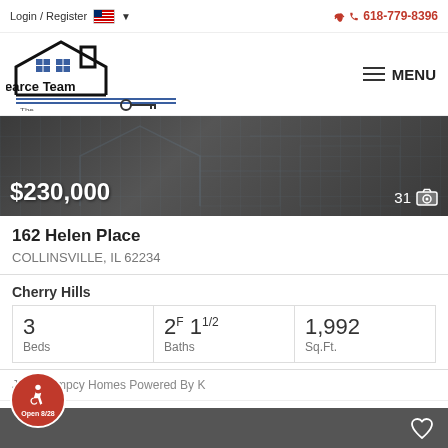Login / Register  618-779-8396
[Figure (logo): The Pearce Team real estate logo with house and key icon]
[Figure (photo): Dark blueprint-style property background image showing $230,000 price and 31 photos indicator]
162 Helen Place
COLLINSVILLE, IL 62234
Cherry Hills
| Beds | Baths | Sq.Ft. |
| --- | --- | --- |
| 3 | 2F 1 1/2 | 1,992 |
Judy Dempcy Homes Powered By K
Open 8/28